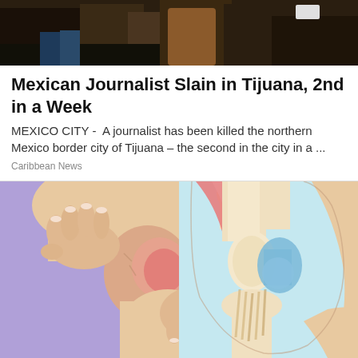[Figure (photo): Top portion of a photo showing people in the background, partially cropped]
Mexican Journalist Slain in Tijuana, 2nd in a Week
MEXICO CITY -  A journalist has been killed the northern Mexico border city of Tijuana – the second in the city in a ...
Caribbean News
[Figure (illustration): Two-panel medical illustration showing knee anatomy: left panel shows hands gripping an inflamed knee joint with purple background, right panel shows a cross-section diagram of the knee joint with muscles, tendons, cartilage and ligaments labeled with blue and pink coloring on teal background]